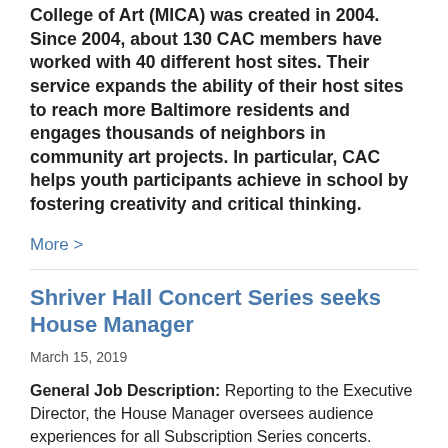College of Art (MICA) was created in 2004. Since 2004, about 130 CAC members have worked with 40 different host sites. Their service expands the ability of their host sites to reach more Baltimore residents and engages thousands of neighbors in community art projects. In particular, CAC helps youth participants achieve in school by fostering creativity and critical thinking.
More >
Shriver Hall Concert Series seeks House Manager
March 15, 2019
General Job Description: Reporting to the Executive Director, the House Manager oversees audience experiences for all Subscription Series concerts. Supervising the usher corps, the House Manager is responsible for the smooth and professional operation of all public areas of Shriver Hall ensuring